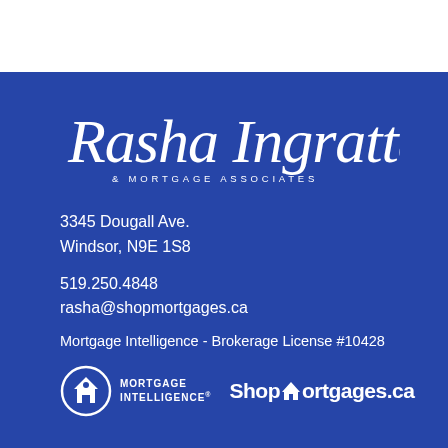[Figure (logo): Rasha Ingratta & Mortgage Associates script logo in white on blue background]
3345 Dougall Ave.
Windsor, N9E 1S8
519.250.4848
rasha@shopmortgages.ca
Mortgage Intelligence - Brokerage License #10428
[Figure (logo): Mortgage Intelligence circular logo with house icon and MORTGAGE INTELLIGENCE text, followed by ShopMortgages.ca logo]